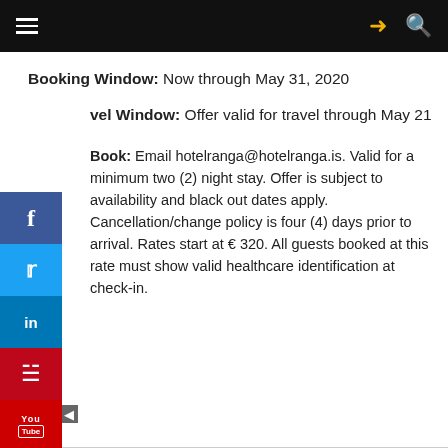Navigation bar with menu, share, and search icons
Booking Window: Now through May 31, 2020
Travel Window: Offer valid for travel through May 21
How to Book: Email hotelranga@hotelranga.is. Valid for a minimum two (2) night stay. Offer is subject to availability and black out dates apply. Cancellation/change policy is four (4) days prior to arrival. Rates start at € 320. All guests booked at this rate must show valid healthcare identification at check-in.